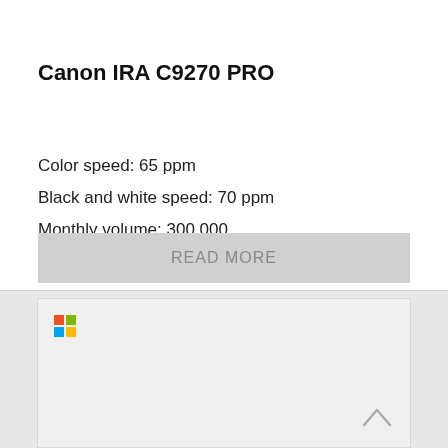Canon IRA C9270 PRO
Color speed: 65 ppm
Black and white speed: 70 ppm
Monthly volume: 300.000
READ MORE
[Figure (logo): Microsoft Windows logo (four colored squares)]
[Figure (other): Scroll-up arrow icon in bottom right corner]